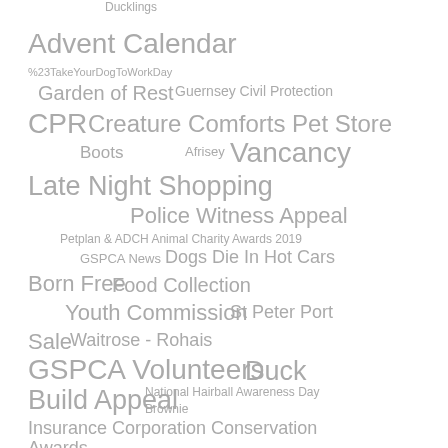[Figure (infographic): Tag cloud with various terms at different font sizes and positions, all in gray color. Terms include: Ducklings, Advent Calendar, %23TakeYourDogToWorkDay, Garden of Rest, Guernsey Civil Protection, CPR, Creature Comforts Pet Store, Boots, Afrisey, Vancancy, Late Night Shopping, Police Witness Appeal, Petplan & ADCH Animal Charity Awards 2019, GSPCA News, Dogs Die In Hot Cars, Born Free, Food Collection, Youth Commission, St Peter Port, Sale, Waitrose - Rohais, GSPCA Volunteers, Duck, Build Appeal, National Hairball Awareness Day, Brownie, Insurance Corporation Conservation Awards]